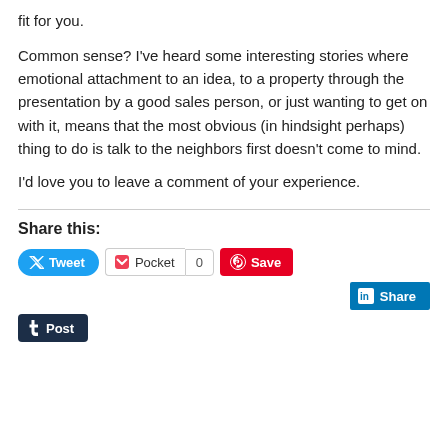fit for you.
Common sense? I've heard some interesting stories where emotional attachment to an idea, to a property through the presentation by a good sales person, or just wanting to get on with it, means that the most obvious (in hindsight perhaps) thing to do is talk to the neighbors first doesn't come to mind.
I'd love you to leave a comment of your experience.
Share this:
[Figure (other): Social sharing buttons: Tweet (Twitter), Pocket (with count 0), Save (Pinterest), LinkedIn Share, Tumblr Post]